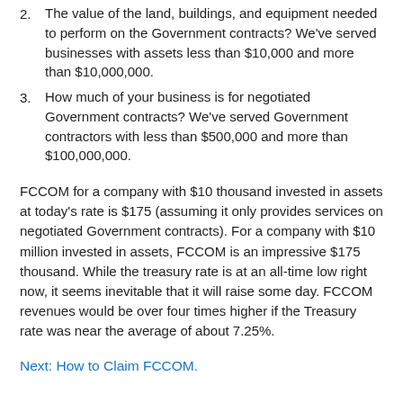2. The value of the land, buildings, and equipment needed to perform on the Government contracts?  We've served businesses with assets less than $10,000 and more than $10,000,000.
3. How much of your business is for negotiated Government contracts?  We've served Government contractors with less than $500,000 and more than $100,000,000.
FCCOM for a company with $10 thousand invested in assets at today's rate is $175 (assuming it only provides services on negotiated Government contracts). For a company with $10 million invested in assets, FCCOM is an impressive $175 thousand. While the treasury rate is at an all-time low right now, it seems inevitable that it will raise some day. FCCOM revenues would be over four times higher if the Treasury rate was near the average of about 7.25%.
Next: How to Claim FCCOM.